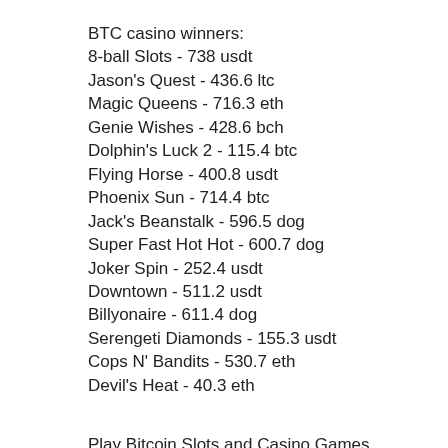BTC casino winners:
8-ball Slots - 738 usdt
Jason's Quest - 436.6 ltc
Magic Queens - 716.3 eth
Genie Wishes - 428.6 bch
Dolphin's Luck 2 - 115.4 btc
Flying Horse - 400.8 usdt
Phoenix Sun - 714.4 btc
Jack's Beanstalk - 596.5 dog
Super Fast Hot Hot - 600.7 dog
Joker Spin - 252.4 usdt
Downtown - 511.2 usdt
Billyonaire - 611.4 dog
Serengeti Diamonds - 155.3 usdt
Cops N' Bandits - 530.7 eth
Devil's Heat - 40.3 eth
Play Bitcoin Slots and Casino Games Online:
BitStarz Casino God of Gamblers